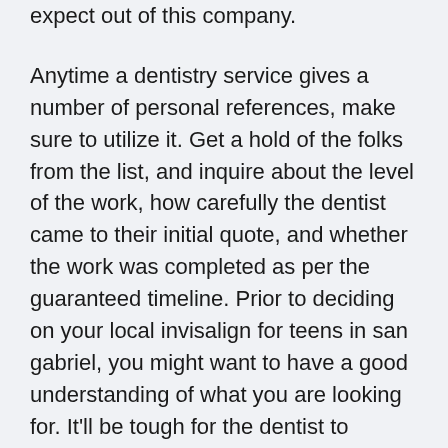expect out of this company.
Anytime a dentistry service gives a number of personal references, make sure to utilize it. Get a hold of the folks from the list, and inquire about the level of the work, how carefully the dentist came to their initial quote, and whether the work was completed as per the guaranteed timeline. Prior to deciding on your local invisalign for teens in san gabriel, you might want to have a good understanding of what you are looking for. It'll be tough for the dentist to provide a cost appraisal on the phone if they have not seen your dentistry need themselves. It might be even increasingly difficult if you fail to make